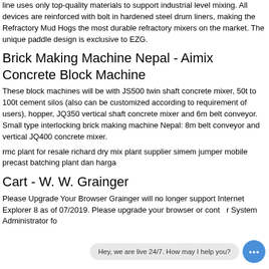line uses only top-quality materials to support industrial level mixing. All devices are reinforced with bolt in hardened steel drum liners, making the Refractory Mud Hogs the most durable refractory mixers on the market. The unique paddle design is exclusive to EZG.
Brick Making Machine Nepal - Aimix Concrete Block Machine
These block machines will be with JS500 twin shaft concrete mixer, 50t to 100t cement silos (also can be customized according to requirement of users), hopper, JQ350 vertical shaft concrete mixer and 6m belt conveyor. Small type interlocking brick making machine Nepal: 8m belt conveyor and vertical JQ400 concrete mixer.
rmc plant for resale richard dry mix plant supplier simem jumper mobile precast batching plant dan harga
Cart - W. W. Grainger
Please Upgrade Your Browser Grainger will no longer support Internet Explorer 8 as of 07/2019. Please upgrade your browser or cont r System Administrator fo
[Figure (other): Live chat popup overlay with text 'Hey, we are live 24/7. How may I help you?' and a blue chat icon button]